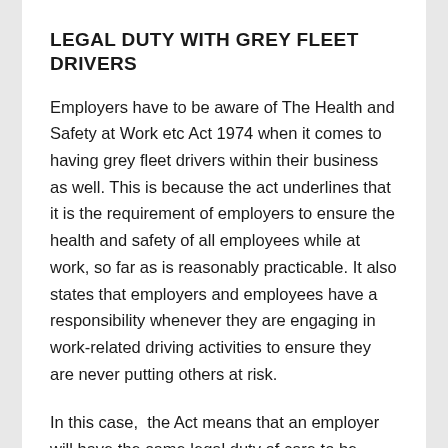LEGAL DUTY WITH GREY FLEET DRIVERS
Employers have to be aware of The Health and Safety at Work etc Act 1974 when it comes to having grey fleet drivers within their business as well. This is because the act underlines that it is the requirement of employers to ensure the health and safety of all employees while at work, so far as is reasonably practicable. It also states that employers and employees have a responsibility whenever they are engaging in work-related driving activities to ensure they are never putting others at risk.
In this case,  the Act means that an employer will have the same legal duty of care to be aware of